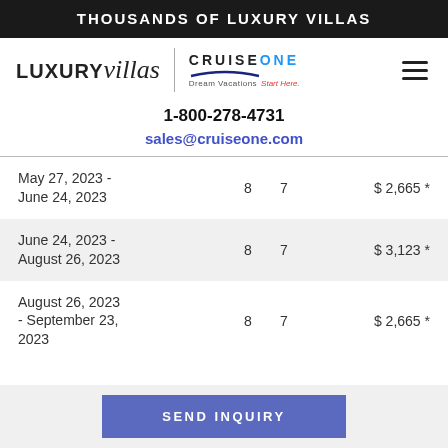THOUSANDS OF LUXURY VILLAS
[Figure (logo): LUXURYvillas logo with vertical divider and CruiseOne Dream Vacations logo, plus hamburger menu icon]
1-800-278-4731
sales@cruiseone.com
| Date Range | Nights | Days | Price |
| --- | --- | --- | --- |
| May 27, 2023 - June 24, 2023 | 8 | 7 | $ 2,665 * |
| June 24, 2023 - August 26, 2023 | 8 | 7 | $ 3,123 * |
| August 26, 2023 - September 23, 2023 | 8 | 7 | $ 2,665 * |
SEND INQUIRY